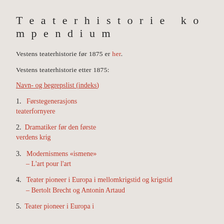Teaterhistorie kompendium
Vestens teaterhistorie før 1875 er her.
Vestens teaterhistorie etter 1875:
Navn- og begrepslist (indeks)
1.   Førstegenerasjons teaterfornyere
2.  Dramatiker før den første verdens krig
3.   Modernismens «ismene» – L'art pour l'art
4.   Teater pioneer i Europa i mellomkrigstid og krigstid – Bertolt Brecht og Antonin Artaud
5.  Teater pioneer i Europa i